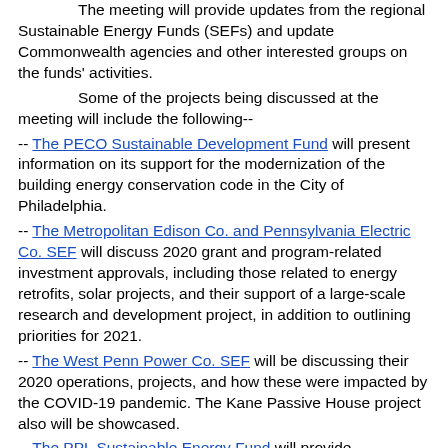The meeting will provide updates from the regional Sustainable Energy Funds (SEFs) and update Commonwealth agencies and other interested groups on the funds' activities.
Some of the projects being discussed at the meeting will include the following--
-- The PECO Sustainable Development Fund will present information on its support for the modernization of the building energy conservation code in the City of Philadelphia.
-- The Metropolitan Edison Co. and Pennsylvania Electric Co. SEF will discuss 2020 grant and program-related investment approvals, including those related to energy retrofits, solar projects, and their support of a large-scale research and development project, in addition to outlining priorities for 2021.
-- The West Penn Power Co. SEF will be discussing their 2020 operations, projects, and how these were impacted by the COVID-19 pandemic. The Kane Passive House project also will be showcased.
-- The PPL Sustainable Energy Fund will provide information on the completion of its net zero building at the beginning of the year and carried out lending, C-PACE, and educational activities throughout the pandemic. For 2021 the organization will continue to work to expend C-PACE and